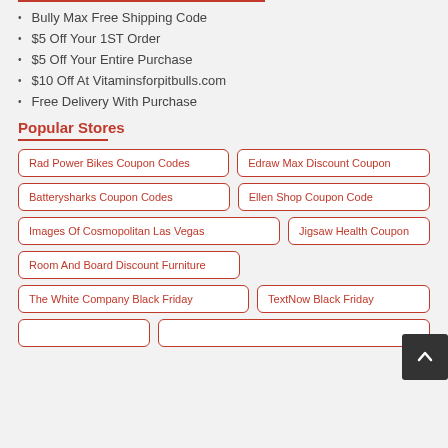Bully Max Free Shipping Code
$5 Off Your 1ST Order
$5 Off Your Entire Purchase
$10 Off At Vitaminsforpitbulls.com
Free Delivery With Purchase
Popular Stores
Rad Power Bikes Coupon Codes
Edraw Max Discount Coupon
Batterysharks Coupon Codes
Ellen Shop Coupon Code
Images Of Cosmopolitan Las Vegas
Jigsaw Health Coupon
Room And Board Discount Furniture
The White Company Black Friday
TextNow Black Friday